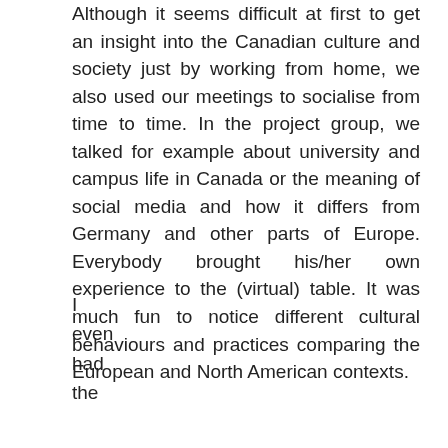Although it seems difficult at first to get an insight into the Canadian culture and society just by working from home, we also used our meetings to socialise from time to time. In the project group, we talked for example about university and campus life in Canada or the meaning of social media and how it differs from Germany and other parts of Europe. Everybody brought his/her own experience to the (virtual) table. It was much fun to notice different cultural behaviours and practices comparing the European and North American contexts.
I
even
had
the